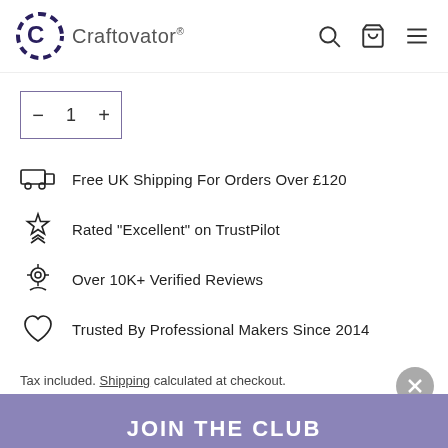Craftovator®
1
Free UK Shipping For Orders Over £120
Rated "Excellent" on TrustPilot
Over 10K+ Verified Reviews
Trusted By Professional Makers Since 2014
Tax included. Shipping calculated at checkout.
JOIN THE CLUB
CLAIM 10% OFF